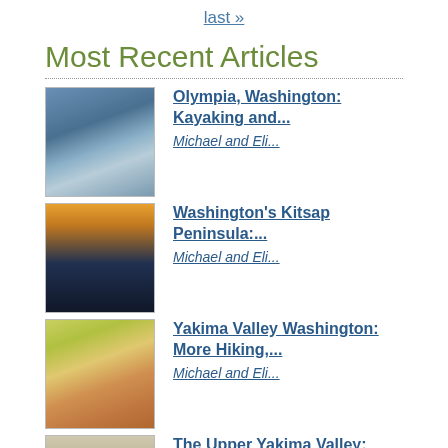last »
Most Recent Articles
Olympia, Washington: Kayaking and... Michael and Eli...
Washington's Kitsap Peninsula:... Michael and Eli...
Yakima Valley Washington: More Hiking,... Michael and Eli...
The Upper Yakima Valley: Hiking,... Michael and Eli...
35th Anniversary